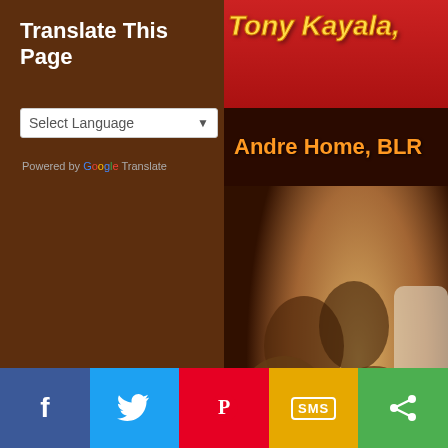Translate This Page
Select Language
Powered by Google Translate
[Figure (photo): Book cover image showing Tony Kayala text at top in yellow italic font on red background, Andre Home BLR text on dark banner, and religious painting showing figures below with partial text 'T OF CO' and 'SCENDE']
Tony Thampi Kayala, c.s.c.
Saint Andre Home
tk@tkayala.com
f  [Twitter bird]  [Pinterest P]  SMS  [Share icon]